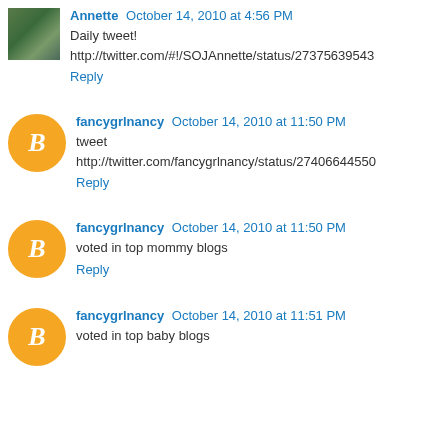Annette October 14, 2010 at 4:56 PM
Daily tweet!
http://twitter.com/#!/SOJAnnette/status/27375639543
Reply
fancygrlnancy October 14, 2010 at 11:50 PM
tweet
http://twitter.com/fancygrlnancy/status/27406644550
Reply
fancygrlnancy October 14, 2010 at 11:50 PM
voted in top mommy blogs
Reply
fancygrlnancy October 14, 2010 at 11:51 PM
voted in top baby blogs